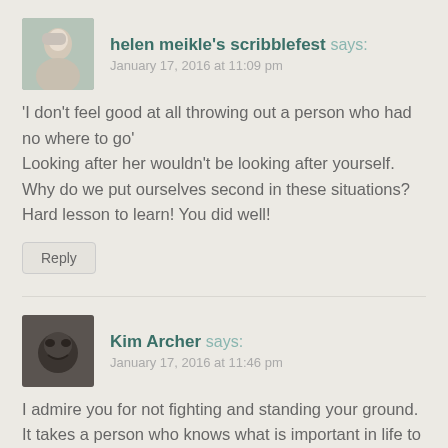helen meikle's scribblefest says:
January 17, 2016 at 11:09 pm
‘I don’t feel good at all throwing out a person who had no where to go’
Looking after her wouldn’t be looking after yourself. Why do we put ourselves second in these situations? Hard lesson to learn! You did well!
Reply
Kim Archer says:
January 17, 2016 at 11:46 pm
I admire you for not fighting and standing your ground. It takes a person who knows what is important in life to do